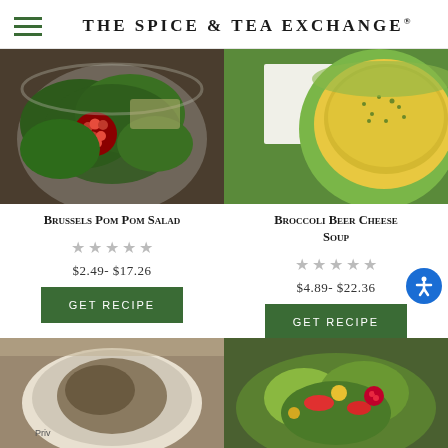THE SPICE & TEA EXCHANGE®
[Figure (photo): Bowl of Brussels sprout salad with pomegranate seeds and greens]
[Figure (photo): Bowl of creamy broccoli beer cheese soup in green ceramic dish]
Brussels Pom Pom Salad
Broccoli Beer Cheese Soup
★★★★★ (empty stars rating)
$2.49 - $17.26
$4.89 - $22.36
GET RECIPE
GET RECIPE
[Figure (photo): Close-up of a food dish on a plate]
[Figure (photo): Colorful chopped salad with greens, pomegranate and peppers]